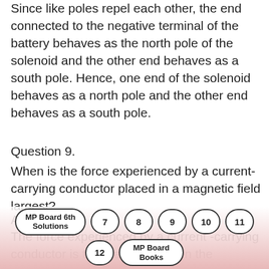Since like poles repel each other, the end connected to the negative terminal of the battery behaves as the north pole of the solenoid and the other end behaves as a south pole. Hence, one end of the solenoid behaves as a north pole and the other end behaves as a south pole.
Question 9.
When is the force experienced by a current-carrying conductor placed in a magnetic field largest?
Answer:
The force experienced by a current -carrying conductor is the maximum when the direction of current is perpendicular to the
MP Board 6th Solutions  7  8  9  10  11  12  MP Board Books